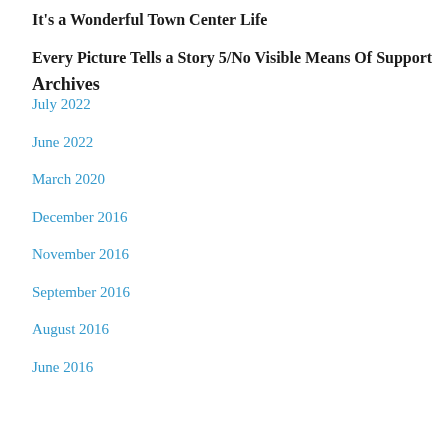It's a Wonderful Town Center Life
Every Picture Tells a Story 5/No Visible Means Of Support
Archives
July 2022
June 2022
March 2020
December 2016
November 2016
September 2016
August 2016
June 2016